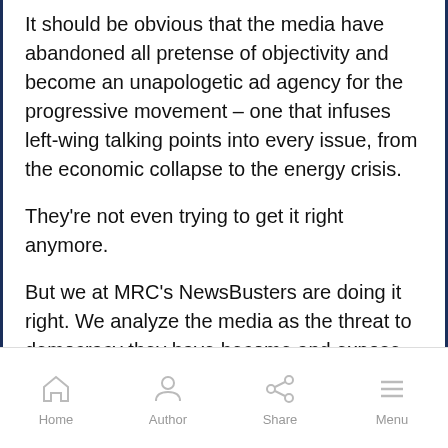It should be obvious that the media have abandoned all pretense of objectivity and become an unapologetic ad agency for the progressive movement – one that infuses left-wing talking points into every issue, from the economic collapse to the energy crisis.
They're not even trying to get it right anymore.
But we at MRC's NewsBusters are doing it right. We analyze the media as the threat to democracy they have become and expose the tools of their trade – deceit, bias, omission, and manipulation.
When Joy Reid says we care about Ukraine, only
Home  Author  Share  Menu